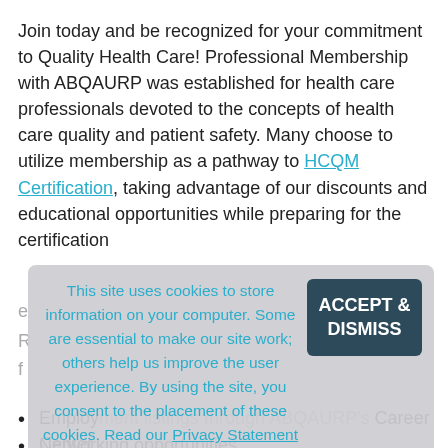Join today and be recognized for your commitment to Quality Health Care! Professional Membership with ABQAURP was established for health care professionals devoted to the concepts of health care quality and patient safety. Many choose to utilize membership as a pathway to HCQM Certification, taking advantage of our discounts and educational opportunities while preparing for the certification exam.
This site uses cookies to store information on your computer. Some are essential to make our site work; others help us improve the user experience. By using the site, you consent to the placement of these cookies. Read our Privacy Statement to learn more.
Employment listings through ABQAURP's Career Center
Networking opportunities